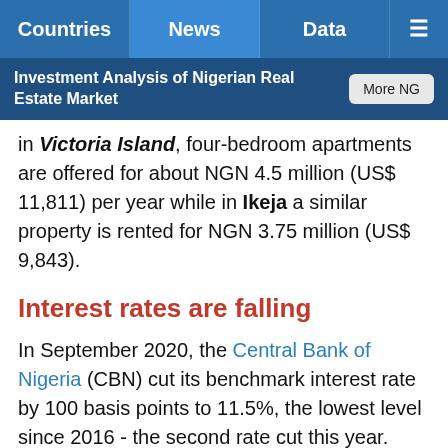Countries | News | Data | ☰
Investment Analysis of Nigerian Real Estate Market
in Victoria Island, four-bedroom apartments are offered for about NGN 4.5 million (US$ 11,811) per year while in Ikeja a similar property is rented for NGN 3.75 million (US$ 9,843).
Interest rates are falling
In September 2020, the Central Bank of Nigeria (CBN) cut its benchmark interest rate by 100 basis points to 11.5%, the lowest level since 2016 - the second rate cut this year.